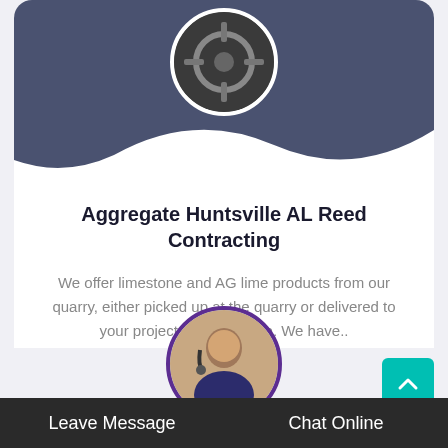[Figure (photo): Circular image of machinery/equipment on dark blue-gray wave background at top of card]
Aggregate Huntsville AL Reed Contracting
We offer limestone and AG lime products from our quarry, either picked up at the quarry or delivered to your project, site, or home. We have..
[Figure (photo): Circular image of customer service representative with headset, partially visible at bottom]
Leave Message
Chat Online